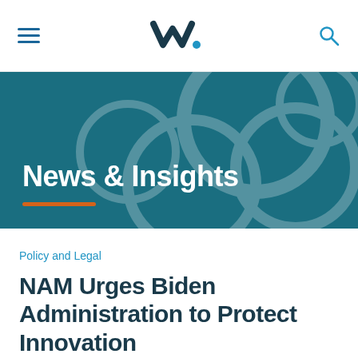NAM website navigation bar with hamburger menu, logo, and search icon
[Figure (screenshot): Dark teal hero banner with decorative overlapping circles in background, 'News & Insights' title in white bold text, orange underline accent below title]
News & Insights
Policy and Legal
NAM Urges Biden Administration to Protect Innovation